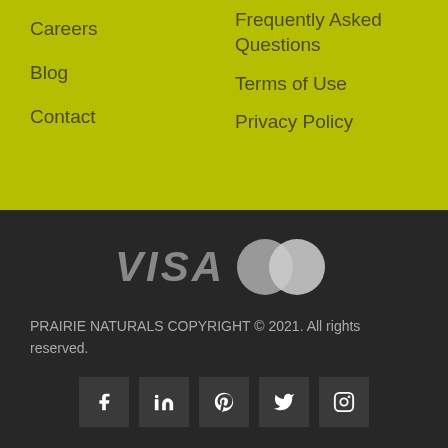Careers
Blog
Contact
Frequently Asked Questions
Terms of Use
Privacy Policy
[Figure (logo): VISA and Mastercard payment logos in gray on dark background]
PRAIRIE NATURALS COPYRIGHT © 2021. All rights reserved.
[Figure (infographic): Social media icons: Facebook, LinkedIn, Pinterest, Twitter, Instagram in dark square boxes]